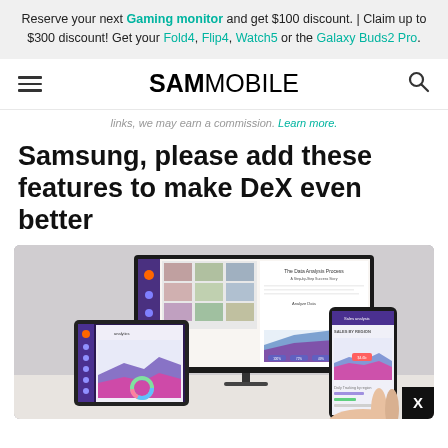Reserve your next Gaming monitor and get $100 discount. | Claim up to $300 discount! Get your Fold4, Flip4, Watch5 or the Galaxy Buds2 Pro.
SAMMOBILE
links, we may earn a commission. Learn more.
Samsung, please add these features to make DeX even better
[Figure (photo): Samsung DeX setup showing a large monitor displaying a data analysis presentation, a tablet and a smartphone in hand showing sales analytics dashboards.]